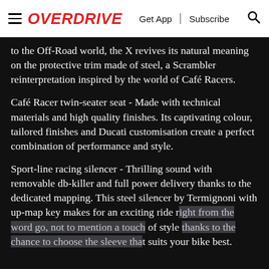OVERDRIVE | Get App | Subscribe
to the Off-Road world, the X revives its natural meaning on the protective trim made of steel, a Scrambler reinterpretation inspired by the world of Café Racers.
Café Racer twin-seater seat - Made with technical materials and high quality finishes. Its captivating colour, tailored finishes and Ducati customisation create a perfect combination of performance and style.
Sport-line racing silencer - Thrilling sound with removable db-killer and full power delivery thanks to the dedicated mapping. This steel silencer by Termignoni with up-map key makes for an exciting ride right from the word go, not to mention a touch of style thanks to the chance to choose the sleeve that suits your bike best.